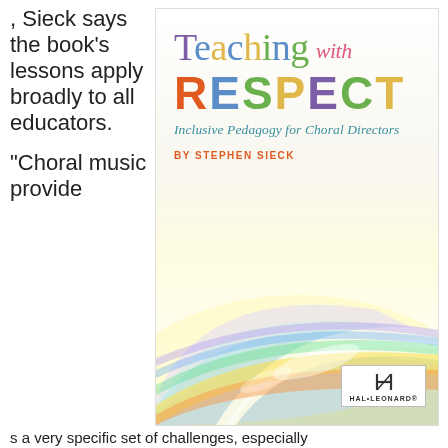, Sieck says the book's lessons apply broadly to all educators.
“Choral music provides a very specific set of challenges, especially
[Figure (illustration): Book cover of 'Teaching with RESPECT: Inclusive Pedagogy for Choral Directors' by Stephen Sieck, published by Hal Leonard. The cover features colorful lettering for the title and a rainbow/road graphic at the bottom.]